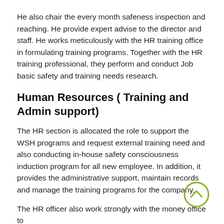He also chair the every month safeness inspection and reaching. He provide expert advise to the director and staff. He works meticulously with the HR training office in formulating training programs. Together with the HR training professional, they perform and conduct Job basic safety and training needs research.
Human Resources ( Training and Admin support)
The HR section is allocated the role to support the WSH programs and request external training need and also conducting in-house safety consciousness induction program for all new employee. In addition, it provides the administrative support, maintain records and manage the training programs for the company.
The HR officer also work strongly with the money office to